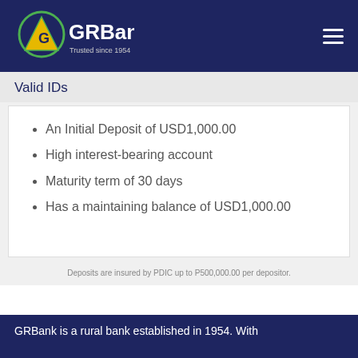GRBank — Trusted since 1954
Valid IDs
An Initial Deposit of USD1,000.00
High interest-bearing account
Maturity term of 30 days
Has a maintaining balance of USD1,000.00
Deposits are insured by PDIC up to P500,000.00 per depositor.
GRBank is a rural bank established in 1954. With